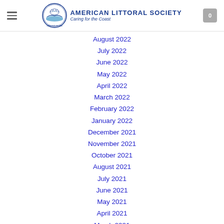American Littoral Society — Caring for the Coast
August 2022
July 2022
June 2022
May 2022
April 2022
March 2022
February 2022
January 2022
December 2021
November 2021
October 2021
August 2021
July 2021
June 2021
May 2021
April 2021
March 2021
February 2021